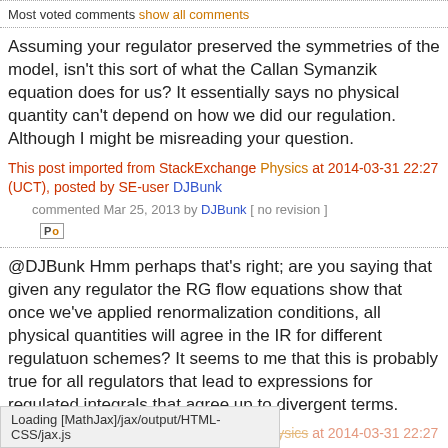Most voted comments show all comments
Assuming your regulator preserved the symmetries of the model, isn't this sort of what the Callan Symanzik equation does for us? It essentially says no physical quantity can't depend on how we did our regulation. Although I might be misreading your question.
This post imported from StackExchange Physics at 2014-03-31 22:27 (UCT), posted by SE-user DJBunk
commented Mar 25, 2013 by DJBunk [ no revision ]
@DJBunk Hmm perhaps that's right; are you saying that given any regulator the RG flow equations show that once we've applied renormalization conditions, all physical quantities will agree in the IR for different regulatuon schemes? It seems to me that this is probably true for all regulators that lead to expressions for regulated integrals that agree up to divergent terms.
This post imported from StackExchange Physics at 2014-03-31 22:27
Loading [MathJax]/jax/output/HTML-CSS/jax.js